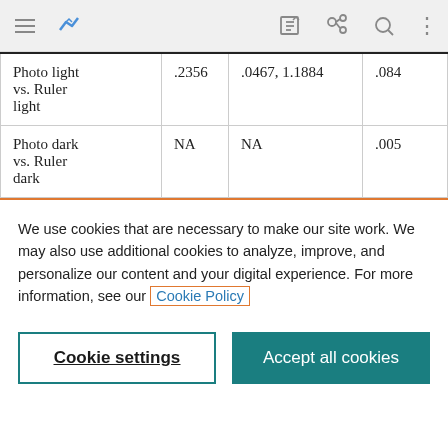Browser toolbar with navigation icons
| Photo light vs. Ruler light | .2356 | .0467, 1.1884 | .084 |
| Photo dark vs. Ruler dark | NA | NA | .005 |
We use cookies that are necessary to make our site work. We may also use additional cookies to analyze, improve, and personalize our content and your digital experience. For more information, see our Cookie Policy
Cookie settings
Accept all cookies